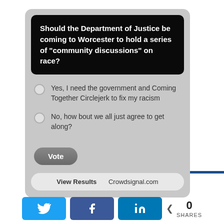Should the Department of Justice be coming to Worcester to hold a series of "community discussions" on race?
Yes, I need the government and Coming Together Circlejerk to fix my racism
No, how bout we all just agree to get along?
Vote
View Results   Crowdsignal.com
0 SHARES